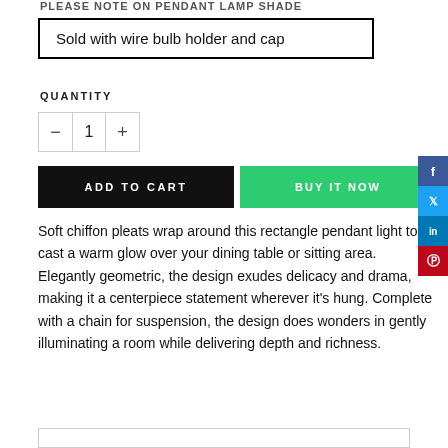PLEASE NOTE ON PENDANT LAMP SHADE
Sold with wire bulb holder and cap
QUANTITY
1
ADD TO CART
BUY IT NOW
Soft chiffon pleats wrap around this rectangle pendant light to cast a warm glow over your dining table or sitting area. Elegantly geometric, the design exudes delicacy and drama, making it a centerpiece statement wherever it’s hung. Complete with a chain for suspension, the design does wonders in gently illuminating a room while delivering depth and richness.